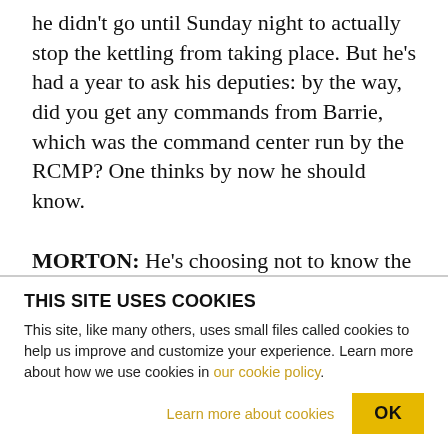he didn't go until Sunday night to actually stop the kettling from taking place. But he's had a year to ask his deputies: by the way, did you get any commands from Barrie, which was the command center run by the RCMP? One thinks by now he should know.
MORTON: He's choosing not to know the answer. It's plausible deniability on his part, as far as I'm concerned. And similarly with the provincial and federal government: they don't want a public inquiry, because they don't want to know how many dirty
THIS SITE USES COOKIES
This site, like many others, uses small files called cookies to help us improve and customize your experience. Learn more about how we use cookies in our cookie policy.
Learn more about cookies
OK